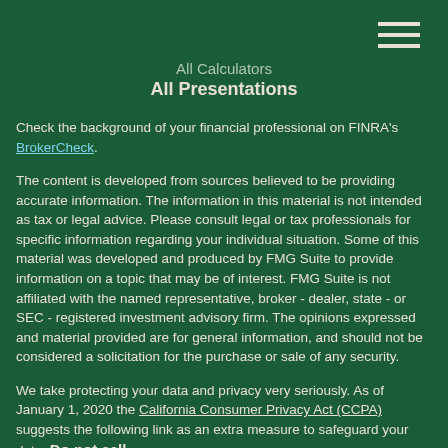All Calculators
All Presentations
Check the background of your financial professional on FINRA's BrokerCheck.
The content is developed from sources believed to be providing accurate information. The information in this material is not intended as tax or legal advice. Please consult legal or tax professionals for specific information regarding your individual situation. Some of this material was developed and produced by FMG Suite to provide information on a topic that may be of interest. FMG Suite is not affiliated with the named representative, broker - dealer, state - or SEC - registered investment advisory firm. The opinions expressed and material provided are for general information, and should not be considered a solicitation for the purchase or sale of any security.
We take protecting your data and privacy very seriously. As of January 1, 2020 the California Consumer Privacy Act (CCPA) suggests the following link as an extra measure to safeguard your data: Do not sell